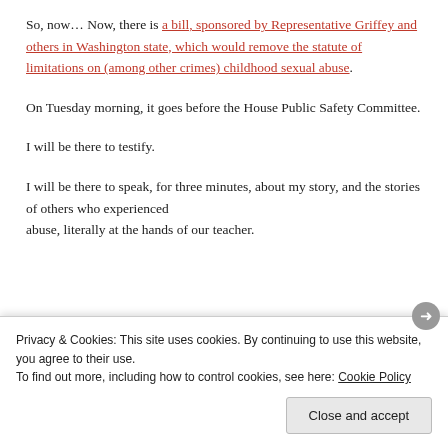So, now… Now, there is a bill, sponsored by Representative Griffey and others in Washington state, which would remove the statute of limitations on (among other crimes) childhood sexual abuse.
On Tuesday morning, it goes before the House Public Safety Committee.
I will be there to testify.
I will be there to speak, for three minutes, about my story, and the stories of others who experienced abuse, literally at the hands of our teacher.
Privacy & Cookies: This site uses cookies. By continuing to use this website, you agree to their use. To find out more, including how to control cookies, see here: Cookie Policy